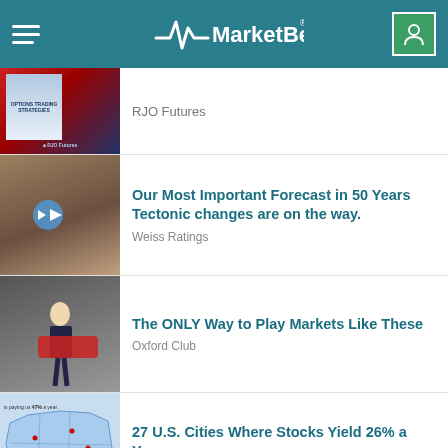MarketBeat
RJO Futures
Our Most Important Forecast in 50 Years Tectonic changes are on the way.
Weiss Ratings
The ONLY Way to Play Markets Like These
Oxford Club
27 U.S. Cities Where Stocks Yield 26% a Year
Investing Daily